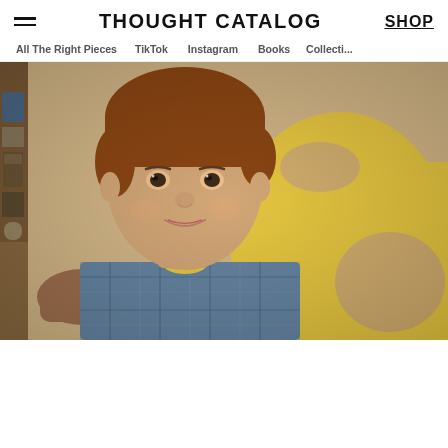THOUGHT CATALOG
All The Right Pieces   TikTok   Instagram   Books   Collecti...
[Figure (photo): Vintage photograph of a young boy wearing a blue plaid shirt with a yellow underlayer, smiling at the camera. Behind him is a larger person in a yellow t-shirt with their arm around the boy. Background shows a kitchen or indoor setting.]